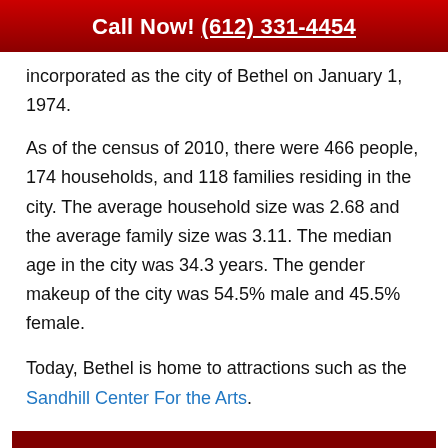Call Now! (612) 331-4454
incorporated as the city of Bethel on January 1, 1974.
As of the census of 2010, there were 466 people, 174 households, and 118 families residing in the city. The average household size was 2.68 and the average family size was 3.11. The median age in the city was 34.3 years. The gender makeup of the city was 54.5% male and 45.5% female.
Today, Bethel is home to attractions such as the Sandhill Center For the Arts.
24/7 Commercial & Residential EMERGENCY RESPONSE
(612) 331-4454